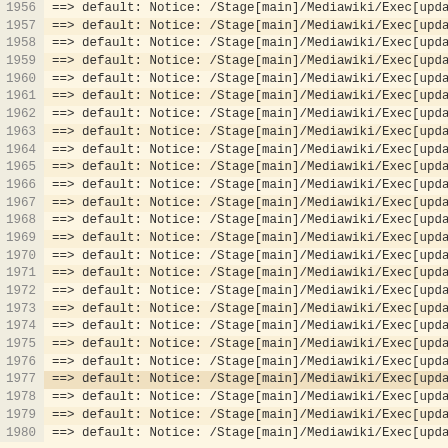1956  ==> default: Notice: /Stage[main]/Mediawiki/Exec[update_
1957  ==> default: Notice: /Stage[main]/Mediawiki/Exec[update_
1958  ==> default: Notice: /Stage[main]/Mediawiki/Exec[update_
1959  ==> default: Notice: /Stage[main]/Mediawiki/Exec[update_
1960  ==> default: Notice: /Stage[main]/Mediawiki/Exec[update_
1961  ==> default: Notice: /Stage[main]/Mediawiki/Exec[update_
1962  ==> default: Notice: /Stage[main]/Mediawiki/Exec[update_
1963  ==> default: Notice: /Stage[main]/Mediawiki/Exec[update_
1964  ==> default: Notice: /Stage[main]/Mediawiki/Exec[update_
1965  ==> default: Notice: /Stage[main]/Mediawiki/Exec[update_
1966  ==> default: Notice: /Stage[main]/Mediawiki/Exec[update_
1967  ==> default: Notice: /Stage[main]/Mediawiki/Exec[update_
1968  ==> default: Notice: /Stage[main]/Mediawiki/Exec[update_
1969  ==> default: Notice: /Stage[main]/Mediawiki/Exec[update_
1970  ==> default: Notice: /Stage[main]/Mediawiki/Exec[update_
1971  ==> default: Notice: /Stage[main]/Mediawiki/Exec[update_
1972  ==> default: Notice: /Stage[main]/Mediawiki/Exec[update_
1973  ==> default: Notice: /Stage[main]/Mediawiki/Exec[update_
1974  ==> default: Notice: /Stage[main]/Mediawiki/Exec[update_
1975  ==> default: Notice: /Stage[main]/Mediawiki/Exec[update_
1976  ==> default: Notice: /Stage[main]/Mediawiki/Exec[update_
1977  ==> default: Notice: /Stage[main]/Mediawiki/Exec[update_
1978  ==> default: Notice: /Stage[main]/Mediawiki/Exec[update_
1979  ==> default: Notice: /Stage[main]/Mediawiki/Exec[update_
1980  ==> default: Notice: /Stage[main]/Mediawiki/Exec[update_